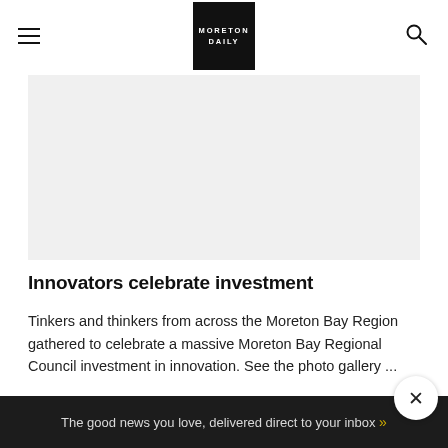MORETON DAILY
[Figure (photo): Gray placeholder image area for article photo]
Innovators celebrate investment
Tinkers and thinkers from across the Moreton Bay Region gathered to celebrate a massive Moreton Bay Regional Council investment in innovation. See the photo gallery ...
The good news you love, delivered direct to your inbox »